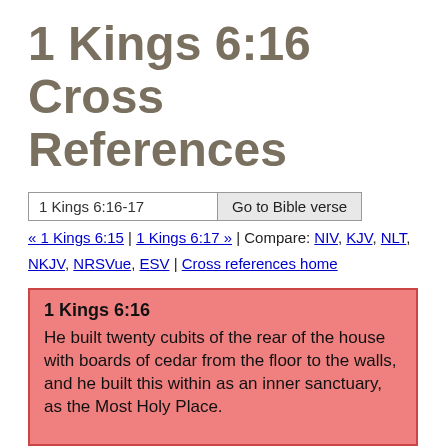1 Kings 6:16 Cross References
1 Kings 6:16-17  Go to Bible verse
« 1 Kings 6:15 | 1 Kings 6:17 » | Compare: NIV, KJV, NLT, NKJV, NRSVue, ESV | Cross references home
1 Kings 6:16
He built twenty cubits of the rear of the house with boards of cedar from the floor to the walls, and he built this within as an inner sanctuary, as the Most Holy Place.